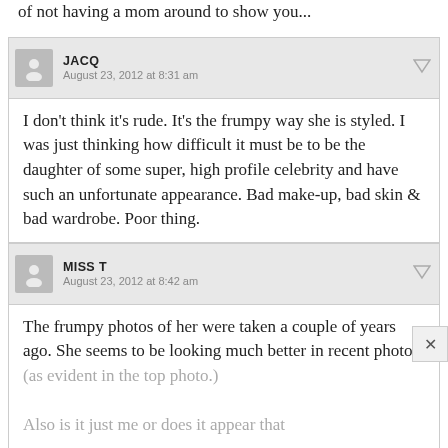of not having a mom around to show you...
JACQ
August 23, 2012 at 8:31 am
I don't think it's rude. It's the frumpy way she is styled. I was just thinking how difficult it must be to be the daughter of some super, high profile celebrity and have such an unfortunate appearance. Bad make-up, bad skin & bad wardrobe. Poor thing.
MISS T
August 23, 2012 at 8:42 am
The frumpy photos of her were taken a couple of years ago. She seems to be looking much better in recent photos.
(as evident in the top photo.)

Also is it just me or does it appear that